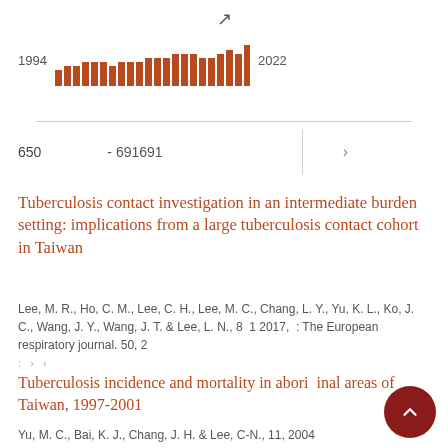[Figure (bar-chart): Publications 1994–2022]
650  - 691691  ›
Tuberculosis contact investigation in an intermediate burden setting: implications from a large tuberculosis contact cohort in Taiwan
Lee, M. R., Ho, C. M., Lee, C. H., Lee, M. C., Chang, L. Y., Yu, K. L., Ko, J. C., Wang, J. Y., Wang, J. T. & Lee, L. N., 8 1 2017, : The European respiratory journal. 50, 2
Tuberculosis incidence and mortality in aboriginal areas of Taiwan, 1997-2001
Yu, M. C., Bai, K. J., Chang, J. H. & Lee, C-N., 11, 2004